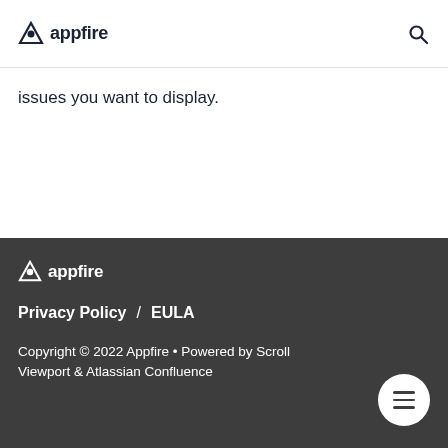appfire
issues you want to display.
[Figure (logo): Appfire logo in white on dark footer background]
Privacy Policy  /  EULA
Copyright © 2022 Appfire • Powered by Scroll Viewport & Atlassian Confluence